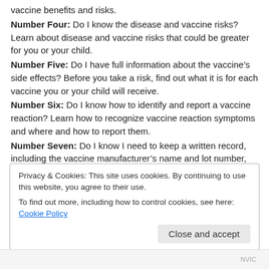vaccine benefits and risks.
Number Four: Do I know the disease and vaccine risks? Learn about disease and vaccine risks that could be greater for you or your child.
Number Five: Do I have full information about the vaccine’s side effects? Before you take a risk, find out what it is for each vaccine you or your child will receive.
Number Six: Do I know how to identify and report a vaccine reaction? Learn how to recognize vaccine reaction symptoms and where and how to report them.
Number Seven: Do I know I need to keep a written record, including the vaccine manufacturer’s name and lot number, for vaccinations? The National Childhood Vaccine Injury Act of 1986 requires all vaccine providers to record information about vaccines given to you or your child.
Number Eight: Do I know I have the right to make an informed choice? Informed consent to medical risk taking, including vaccine risk taking, is a human right.
Privacy & Cookies: This site uses cookies. By continuing to use this website, you agree to their use.
To find out more, including how to control cookies, see here: Cookie Policy